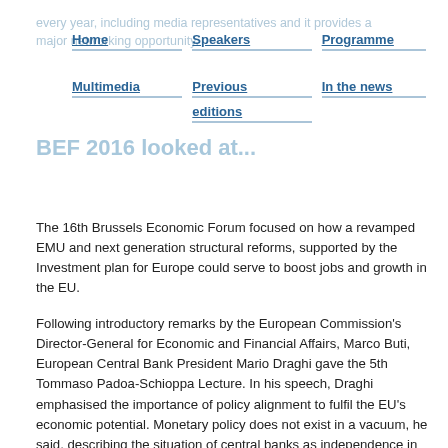Home | Speakers | Programme | Multimedia | Previous editions | In the news
every year, including media representatives and it provides a major networking opportunity.
BEF 2016 looked at...
The 16th Brussels Economic Forum focused on how a revamped EMU and next generation structural reforms, supported by the Investment plan for Europe could serve to boost jobs and growth in the EU.
Following introductory remarks by the European Commission's Director-General for Economic and Financial Affairs, Marco Buti, European Central Bank President Mario Draghi gave the 5th Tommaso Padoa-Schioppa Lecture. In his speech, Draghi emphasised the importance of policy alignment to fulfil the EU's economic potential. Monetary policy does not exist in a vacuum, he said, describing the situation of central banks as independence in interdependence. While each euro area country has its own challenges, raising economic potential is above all about structural reforms, and ultimately comes down to two factors: employment and productivity.